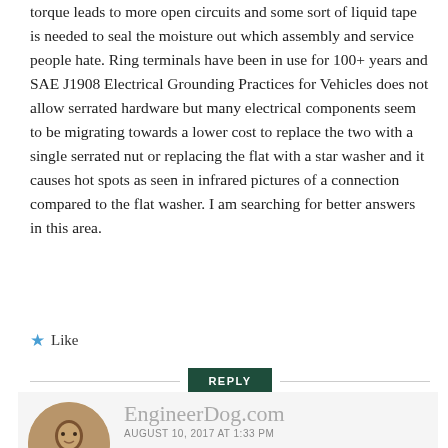torque leads to more open circuits and some sort of liquid tape is needed to seal the moisture out which assembly and service people hate. Ring terminals have been in use for 100+ years and SAE J1908 Electrical Grounding Practices for Vehicles does not allow serrated hardware but many electrical components seem to be migrating towards a lower cost to replace the two with a single serrated nut or replacing the flat with a star washer and it causes hot spots as seen in infrared pictures of a connection compared to the flat washer. I am searching for better answers in this area.
★ Like
REPLY
EngineerDog.com
AUGUST 10, 2017 AT 1:33 PM
Wow that's interesting, thank you for sharing your insights!